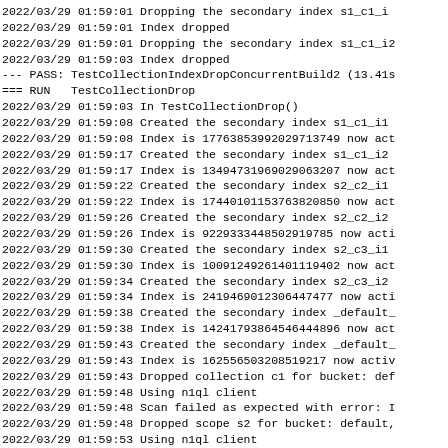2022/03/29 01:59:01 Dropping the secondary index s1_c1_i1
2022/03/29 01:59:01 Index dropped
2022/03/29 01:59:01 Dropping the secondary index s1_c1_i2
2022/03/29 01:59:03 Index dropped
--- PASS: TestCollectionIndexDropConcurrentBuild2 (13.41s
=== RUN   TestCollectionDrop
2022/03/29 01:59:03 In TestCollectionDrop()
2022/03/29 01:59:08 Created the secondary index s1_c1_i1
2022/03/29 01:59:08 Index is 17763853992029713749 now act
2022/03/29 01:59:17 Created the secondary index s1_c1_i2
2022/03/29 01:59:17 Index is 13494731969029063207 now act
2022/03/29 01:59:22 Created the secondary index s2_c2_i1
2022/03/29 01:59:22 Index is 17440101153763820850 now act
2022/03/29 01:59:26 Created the secondary index s2_c2_i2
2022/03/29 01:59:26 Index is 9229333448502919785 now acti
2022/03/29 01:59:30 Created the secondary index s2_c3_i1
2022/03/29 01:59:30 Index is 10091249261401119402 now act
2022/03/29 01:59:34 Created the secondary index s2_c3_i2
2022/03/29 01:59:34 Index is 2419469012306447477 now acti
2022/03/29 01:59:38 Created the secondary index _default_
2022/03/29 01:59:38 Index is 14241793864546444896 now act
2022/03/29 01:59:43 Created the secondary index _default_
2022/03/29 01:59:43 Index is 16255650320851921​7 now activ
2022/03/29 01:59:43 Dropped collection c1 for bucket: def
2022/03/29 01:59:48 Using n1ql client
2022/03/29 01:59:48 Scan failed as expected with error: I
2022/03/29 01:59:48 Dropped scope s2 for bucket: default,
2022/03/29 01:59:53 Using n1ql client
2022-03-29T01:59:53.296+05:30 [Info] GsiClient::UpdateUse
2022-03-29T01:59:53.296+05:30 [Info] GSIC[default/default
2022/03/29 01:59:53 Local index count with title